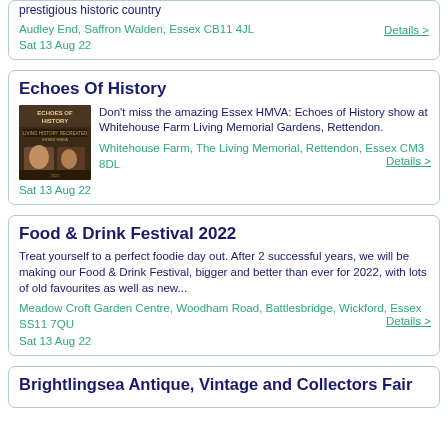prestigious historic country
Audley End, Saffron Walden, Essex CB11 4JL
Details >
Sat 13 Aug 22
Echoes Of History
Don't miss the amazing Essex HMVA: Echoes of History show at Whitehouse Farm Living Memorial Gardens, Rettendon.
Whitehouse Farm, The Living Memorial, Rettendon, Essex CM3 8DL
Details >
Sat 13 Aug 22
Food & Drink Festival 2022
Treat yourself to a perfect foodie day out. After 2 successful years, we will be making our Food & Drink Festival, bigger and better than ever for 2022, with lots of old favourites as well as new...
Meadow Croft Garden Centre, Woodham Road, Battlesbridge, Wickford, Essex SS11 7QU
Details >
Sat 13 Aug 22
Brightlingsea Antique, Vintage and Collectors Fair